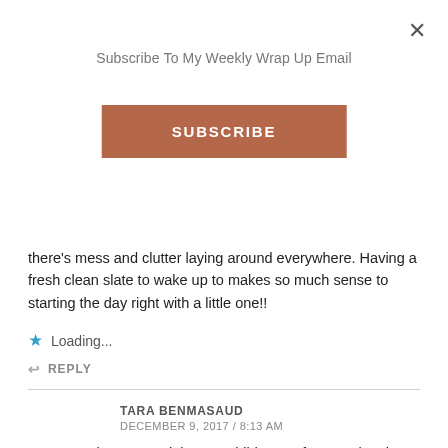Subscribe To My Weekly Wrap Up Email
SUBSCRIBE
there’s mess and clutter laying around everywhere. Having a fresh clean slate to wake up to makes so much sense to starting the day right with a little one!!
Loading...
REPLY
TARA BENMASAUD
DECEMBER 9, 2017 / 8:13 AM
Omg! tara.benmasaudI have 6 children so forever cleaning…a cordless vac would be such a lesser task to get out and get it done!
Loading...